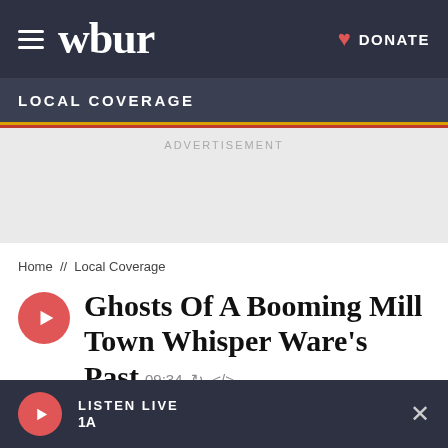wbur | DONATE
LOCAL COVERAGE
ADVERTISEMENT
Home // Local Coverage
Ghosts Of A Booming Mill Town Whisper Ware's Past  09:34
LISTEN LIVE  1A